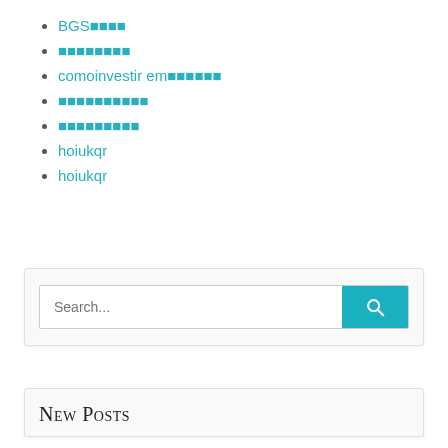BGS■■■■
■■■■■■■■
comoinvestir em■■■■■■
■■■■■■■■■■
■■■■■■■■■
hoiukqr
hoiukqr
[Figure (other): Search bar widget with text input placeholder 'Search...' and a teal search button with magnifying glass icon]
New Posts